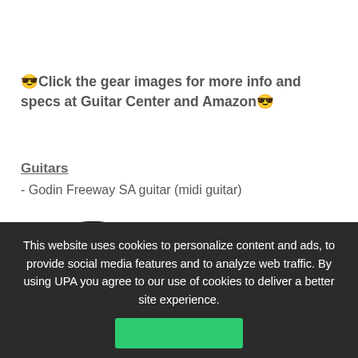😎Click the gear images for more info and specs at Guitar Center and Amazon😎
Guitars
- Godin Freeway SA guitar (midi guitar)
[Figure (photo): Black electric guitar (Godin Freeway SA) with light-colored neck on white background]
This website uses cookies to personalize content and ads, to provide social media features and to analyze web traffic. By using UPA you agree to our use of cookies to deliver a better site experience.